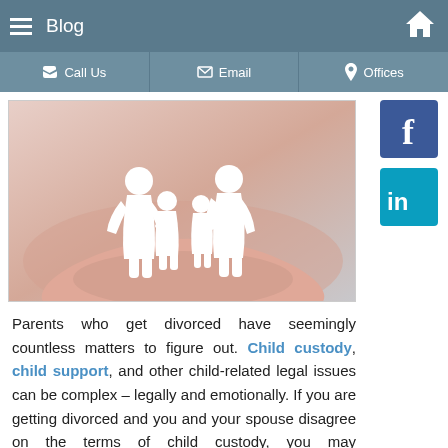Blog
Call Us | Email | Offices
[Figure (photo): Hands holding paper cutout figures of a family (two adults and two children)]
[Figure (logo): Facebook logo icon - blue square with white 'f']
[Figure (logo): LinkedIn logo icon - teal square with white 'in']
Parents who get divorced have seemingly countless matters to figure out. Child custody, child support, and other child-related legal issues can be complex – legally and emotionally. If you are getting divorced and you and your spouse disagree on the terms of child custody, you may understandably be feeling